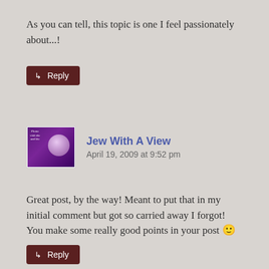As you can tell, this topic is one I feel passionately about...!
[Figure (other): Reply button with arrow icon, dark brown background]
[Figure (other): User avatar thumbnail with purple background and decorative design]
Jew With A View
April 19, 2009 at 9:52 pm
Great post, by the way! Meant to put that in my initial comment but got so carried away I forgot!
You make some really good points in your post 🙂
[Figure (other): Reply button with arrow icon, dark brown background]